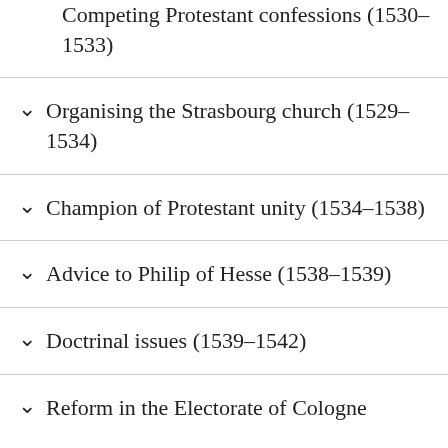Competing Protestant confessions (1530–1533)
Organising the Strasbourg church (1529–1534)
Champion of Protestant unity (1534–1538)
Advice to Philip of Hesse (1538–1539)
Doctrinal issues (1539–1542)
Reform in the Electorate of Cologne